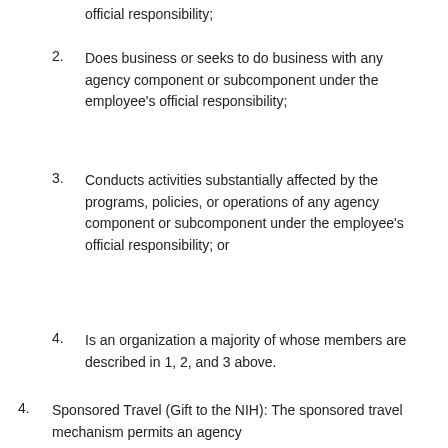official responsibility;
2. Does business or seeks to do business with any agency component or subcomponent under the employee's official responsibility;
3. Conducts activities substantially affected by the programs, policies, or operations of any agency component or subcomponent under the employee's official responsibility; or
4. Is an organization a majority of whose members are described in 1, 2, and 3 above.
4. Sponsored Travel (Gift to the NIH): The sponsored travel mechanism permits an agency